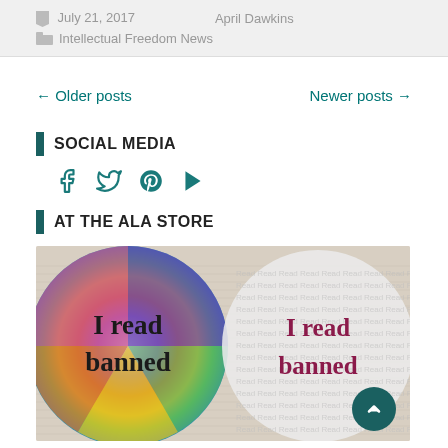July 21, 2017   April Dawkins
Intellectual Freedom News
← Older posts
Newer posts →
SOCIAL MEDIA
[Figure (other): Social media icons: Facebook, Twitter, Pinterest, YouTube]
AT THE ALA STORE
[Figure (photo): Two circular buttons on open books background. Left button is rainbow colored with text 'I read banned'. Right button is white with watermark 'Read' repeated and text 'I read banned' in dark red.]